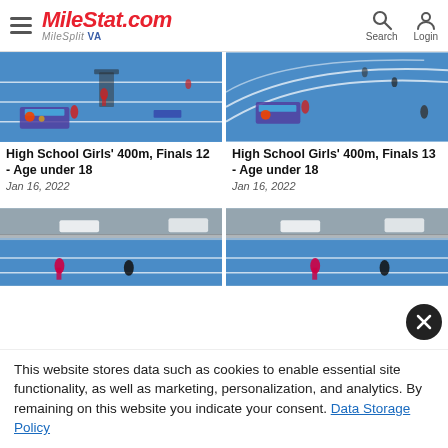MileStat.com MileSplit VA — Search, Login
[Figure (photo): Indoor track photo, blue track, athletes at starting line, High School Girls 400m Finals 12]
High School Girls' 400m, Finals 12 - Age under 18
Jan 16, 2022
[Figure (photo): Indoor track photo, blue curved track, athletes, High School Girls 400m Finals 13]
High School Girls' 400m, Finals 13 - Age under 18
Jan 16, 2022
[Figure (photo): Indoor track photo, athletes running on blue track, lower angle]
[Figure (photo): Indoor track photo, athletes running on blue track, lower angle, right side]
This website stores data such as cookies to enable essential site functionality, as well as marketing, personalization, and analytics. By remaining on this website you indicate your consent. Data Storage Policy